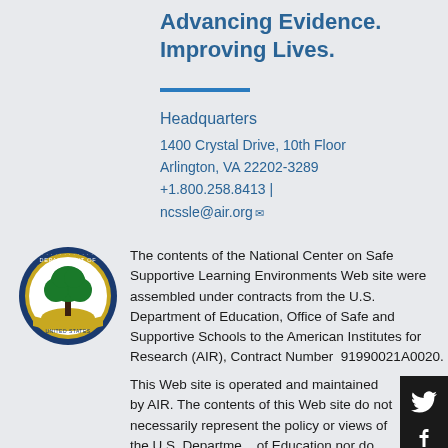Advancing Evidence.
Improving Lives.
Headquarters
1400 Crystal Drive, 10th Floor
Arlington, VA 22202-3289
+1.800.258.8413 |
ncssle@air.org
[Figure (logo): U.S. Department of Education seal/logo - circular seal with tree]
The contents of the National Center on Safe Supportive Learning Environments Web site were assembled under contracts from the U.S. Department of Education, Office of Safe and Supportive Schools to the American Institutes for Research (AIR), Contract Number 91990021A0020.
This Web site is operated and maintained by AIR. The contents of this Web site do not necessarily represent the policy or views of the U.S. Department of Education nor do they imply endorsement by the U.S. Department of Education.